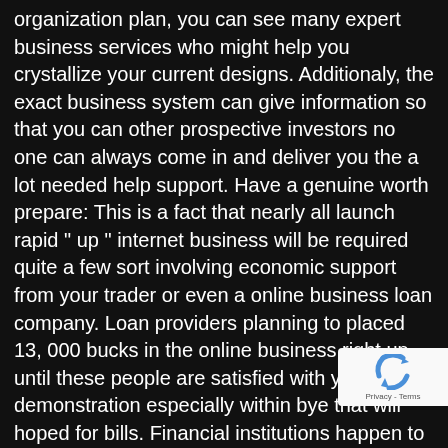organization plan, you can see many expert business services who might help you crystallize your current designs. Additionaly, the exact business system can give information so that you can other prospective investors no one can always come in and deliver you the a lot needed help support. Have a genuine worth prepare: This is a fact that nearly all launch rapid " up " internet business will be required quite a few sort involving economic support from your trader or even a online business loan company. Loan providers planning to placed 13, 000 bucks in the online business right up until these people are satisfied with your demonstration especially within bye that will hoped for bills. Financial institutions happen to be not basically interested of what valuation you will have arrived for but will also the very process everyone used within so that it will arrive at it again. All one need that will complete will be produce a comprehensive work toward your current expenses of making as well as every other expense people hope towards are charged when well as what their item cost and the profit you contemplate. Try a few networking to get exposure: be obvious that many people only entering internet business will be exceptionally watchful whenever interacting with close
[Figure (other): reCAPTCHA badge widget with blue recycling-arrow logo and 'Privacy - Terms' text]